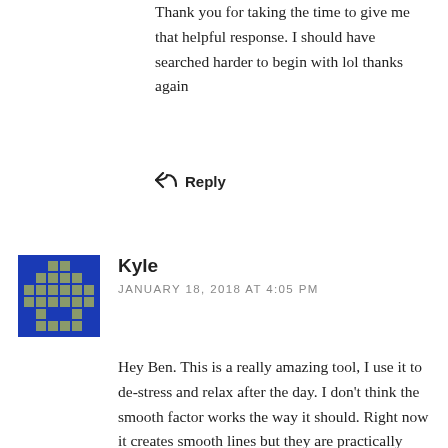Thank you for taking the time to give me that helpful response. I should have searched harder to begin with lol thanks again
↩ Reply
[Figure (other): User avatar for Kyle — blue pixel art icon with cross/hash symbol in green-grey on blue background]
Kyle
JANUARY 18, 2018 AT 4:05 PM
Hey Ben. This is a really amazing tool, I use it to de-stress and relax after the day. I don't think the smooth factor works the way it should. Right now it creates smooth lines but they are practically straight with a slight curve at the end. It cannot be used to make long curves or any real